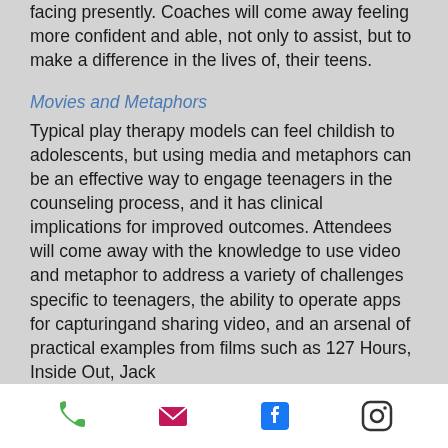facing presently. Coaches will come away feeling more confident and able, not only to assist, but to make a difference in the lives of, their teens.
Movies and Metaphors
Typical play therapy models can feel childish to adolescents, but using media and metaphors can be an effective way to engage teenagers in the counseling process, and it has clinical implications for improved outcomes. Attendees will come away with the knowledge to use video and metaphor to address a variety of challenges specific to teenagers, the ability to operate apps for capturingand sharing video, and an arsenal of practical examples from films such as 127 Hours, Inside Out, Jack
[Figure (infographic): Footer bar with four social/contact icons: phone (green), email (pink/magenta), Facebook (blue), Instagram (outline)]